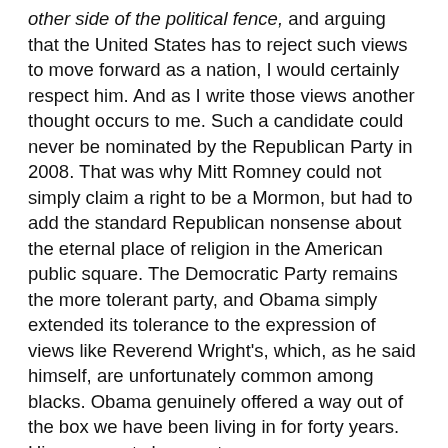other side of the political fence, and arguing that the United States has to reject such views to move forward as a nation, I would certainly respect him. And as I write those views another thought occurs to me. Such a candidate could never be nominated by the Republican Party in 2008. That was why Mitt Romney could not simply claim a right to be a Mormon, but had to add the standard Republican nonsense about the eternal place of religion in the American public square. The Democratic Party remains the more tolerant party, and Obama simply extended its tolerance to the expression of views like Reverend Wright's, which, as he said himself, are unfortunately common among blacks. Obama genuinely offered a way out of the box we have been living in for forty years. His opponents have not.
Bill Richardson's courageous endorsement of Obama moves him a big step closer to the nomination. As of this morning, the three other leading Democrats who could have an even greater impact—John Edwards, Nancy Pelosi, and above all, Al Gore—seem likely to remain silent. The betting markets, however, still show Obama as an overwhelming favorite. He will face a brutal campaign against himself, but his personal character says To me suggest that he has the qualities to...